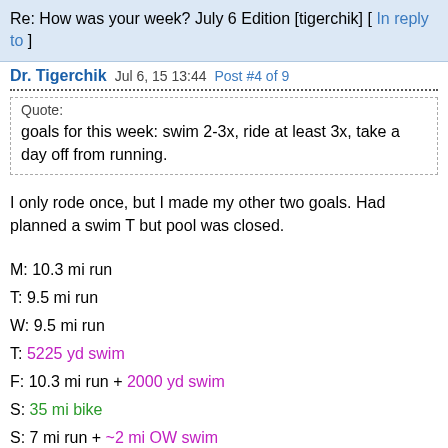Re: How was your week? July 6 Edition [tigerchik] [ In reply to ]
Dr. Tigerchik  Jul 6, 15 13:44  Post #4 of 9
Quote:
goals for this week: swim 2-3x, ride at least 3x, take a day off from running.
I only rode once, but I made my other two goals. Had planned a swim T but pool was closed.
M: 10.3 mi run
T: 9.5 mi run
W: 9.5 mi run
T: 5225 yd swim
F: 10.3 mi run + 2000 yd swim
S: 35 mi bike
S: 7 mi run + ~2 mi OW swim